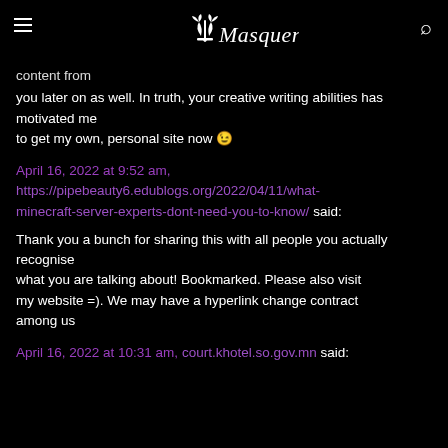Masquerade
content from
you later on as well. In truth, your creative writing abilities has motivated me to get my own, personal site now 😉
April 16, 2022 at 9:52 am, https://pipebeauty6.edublogs.org/2022/04/11/what-minecraft-server-experts-dont-need-you-to-know/ said:
Thank you a bunch for sharing this with all people you actually recognise what you are talking about! Bookmarked. Please also visit my website =). We may have a hyperlink change contract among us
April 16, 2022 at 10:31 am, court.khotel.so.gov.mn said: